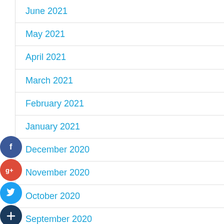June 2021
May 2021
April 2021
March 2021
February 2021
January 2021
December 2020
November 2020
October 2020
September 2020
August 2020
July 2020
June 2018